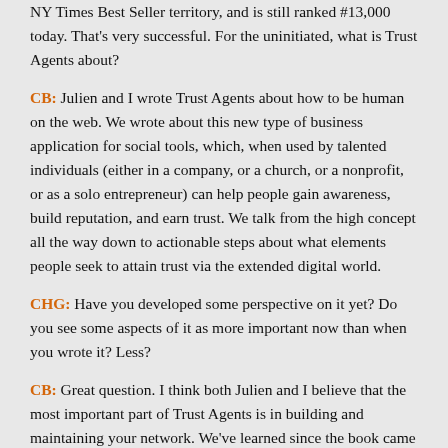NY Times Best Seller territory, and is still ranked #13,000 today. That's very successful. For the uninitiated, what is Trust Agents about?
CB: Julien and I wrote Trust Agents about how to be human on the web. We wrote about this new type of business application for social tools, which, when used by talented individuals (either in a company, or a church, or a nonprofit, or as a solo entrepreneur) can help people gain awareness, build reputation, and earn trust. We talk from the high concept all the way down to actionable steps about what elements people seek to attain trust via the extended digital world.
CHG: Have you developed some perspective on it yet? Do you see some aspects of it as more important now than when you wrote it? Less?
CB: Great question. I think both Julien and I believe that the most important part of Trust Agents is in building and maintaining your network. We've learned since the book came out that the most applicable parts for people to follow were about the way they interacted with others, and how they transferred value back and forth along their network (and we